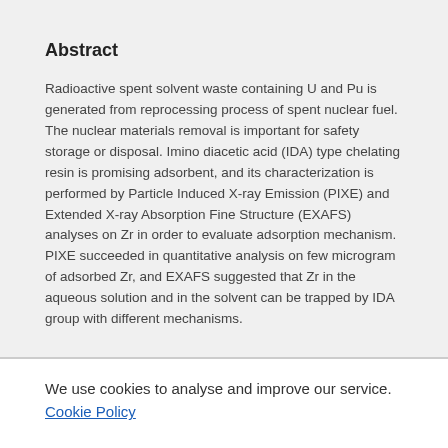Abstract
Radioactive spent solvent waste containing U and Pu is generated from reprocessing process of spent nuclear fuel. The nuclear materials removal is important for safety storage or disposal. Imino diacetic acid (IDA) type chelating resin is promising adsorbent, and its characterization is performed by Particle Induced X-ray Emission (PIXE) and Extended X-ray Absorption Fine Structure (EXAFS) analyses on Zr in order to evaluate adsorption mechanism. PIXE succeeded in quantitative analysis on few microgram of adsorbed Zr, and EXAFS suggested that Zr in the aqueous solution and in the solvent can be trapped by IDA group with different mechanisms.
We use cookies to analyse and improve our service. Cookie Policy